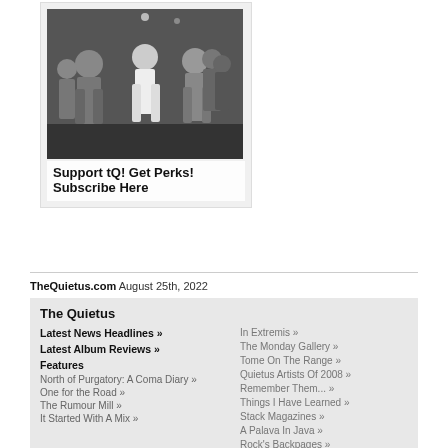[Figure (photo): Black and white photo of people dancing at what appears to be a nightclub or party event, with people in various costumes or outfits]
Support tQ! Get Perks! Subscribe Here
TheQuietus.com August 25th, 2022
The Quietus
Latest News Headlines »
Latest Album Reviews »
Features
North of Purgatory: A Coma Diary »
One for the Road »
The Rumour Mill »
It Started With A Mix »
In Extremis »
The Monday Gallery »
Tome On The Range »
Quietus Artists Of 2008 »
Remember Them... »
Things I Have Learned »
Stack Magazines »
A Palava In Java »
Rock's Backpages »